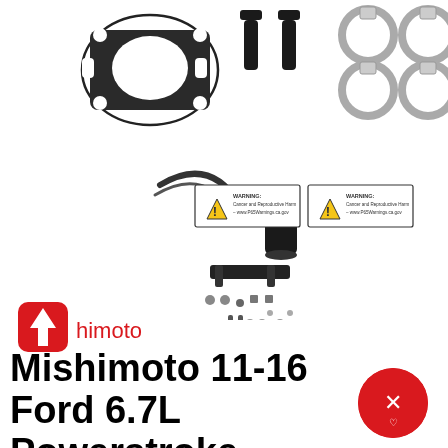[Figure (photo): Automotive parts product image: black bracket/flange plate (top left), two black bolts/fittings (top center), two stainless steel hose clamps (top right), a catch can kit assembly with hose, filter, bracket, and hardware (bottom left area), and two yellow warning labels reading 'WARNING: Cancer and Reproductive Harm – www.P65Warnings.ca.gov' (bottom center-right area)]
[Figure (logo): Mishimoto brand logo: red rounded square icon with white upward arrow, followed by red text 'himoto' (with the 'Mis' portion hidden behind the icon)]
Mishimoto 11-16 Ford 6.7L Powerstroke